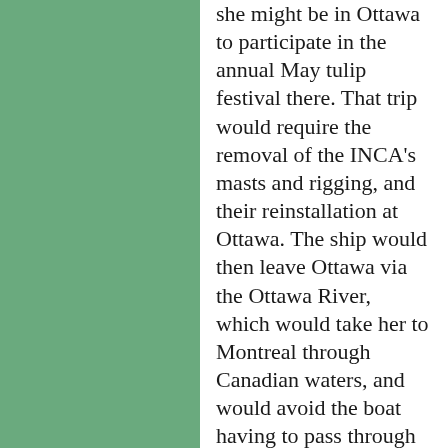she might be in Ottawa to participate in the annual May tulip festival there. That trip would require the removal of the INCA's masts and rigging, and their reinstallation at Ottawa. The ship would then leave Ottawa via the Ottawa River, which would take her to Montreal through Canadian waters, and would avoid the boat having to pass through the U.S. section of the St. Lawrence canals. It will be interesting indeed to see whether this daring and inventive scheme can be brought to fruition. CIUDAD DE INCA has been trapped in the lakes since July 1984, and despite running numerous excursions out of various